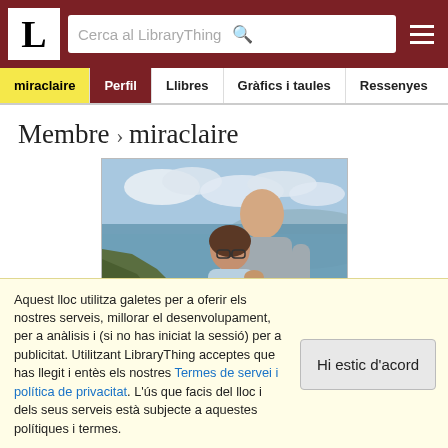L | Cerca al LibraryThing | menu
miraclaire | Perfil | Llibres | Gràfics i taules | Ressenyes
Membre › miraclaire
[Figure (photo): Profile photo of two people (a couple) standing together outdoors near a rocky coastal cliff, with ocean and cloudy sky in the background. A taller man stands behind a woman with glasses.]
Aquest lloc utilitza galetes per a oferir els nostres serveis, millorar el desenvolupament, per a anàlisis i (si no has iniciat la sessió) per a publicitat. Utilitzant LibraryThing acceptes que has llegit i entès els nostres Termes de servei i política de privacitat. L'ús que facis del lloc i dels seus serveis està subjecte a aquestes polítiques i termes.